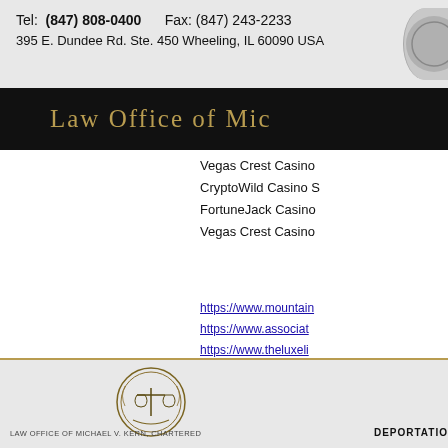Tel: (847) 808-0400  Fax: (847) 243-2233
395 E. Dundee Rd. Ste. 450 Wheeling, IL 60090 USA
Law Office of Mic[hael V. Kern]
Vegas Crest Casino
CryptoWild Casino S
FortuneJack Casino
Vegas Crest Casino
https://www.mountain...
https://www.associat...
https://www.theluxeli...
https://www.grrrlzinef...
[Figure (logo): Law firm seal with scales of justice and laurel wreath]
Law Office of Michael V. Kern, Chartered    DEPORTATIO[N]